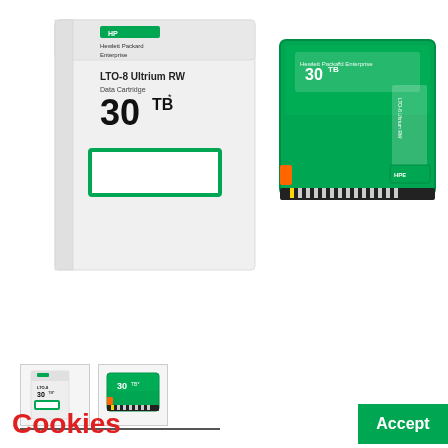[Figure (photo): HP/Hewlett Packard Enterprise LTO-8 Ultrium RW Data Cartridge 30TB product photo showing white box packaging and green tape cartridge side by side]
[Figure (photo): Two small thumbnail images of the same product: box and cartridge]
Cookies
Accept